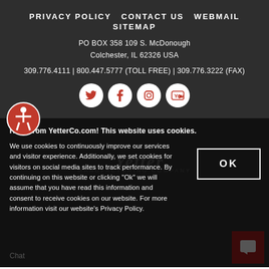PRIVACY POLICY   CONTACT US   WEBMAIL   SITEMAP
PO BOX 358 109 S. McDonough
Colchester, IL 62326 USA
309.776.4111 | 800.447.5777 (TOLL FREE) | 309.776.3222 (FAX)
[Figure (infographic): Social media icons: Twitter, Facebook, Instagram, YouTube in white circles on dark background]
[Figure (logo): Accessibility icon - person in circle, red and white]
Hello from YetterCo.com! This website uses cookies.
We use cookies to continuously improve our services and visitor experience. Additionally, we set cookies for visitors on social media sites to track performance. By continuing on this website or clicking "Ok" we will assume that you have read this information and consent to receive cookies on our website. For more information visit our website's Privacy Policy.